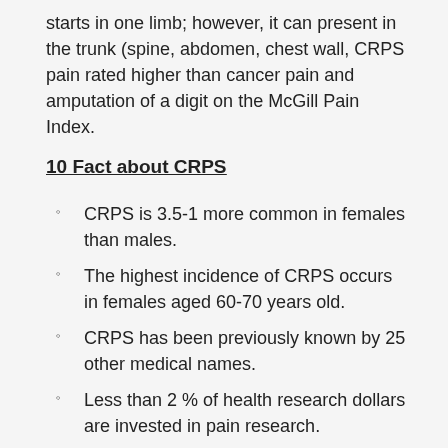starts in one limb; however, it can present in the trunk (spine, abdomen, chest wall, CRPS pain rated higher than cancer pain and amputation of a digit on the McGill Pain Index.
10 Fact about CRPS
CRPS is 3.5-1 more common in females than males.
The highest incidence of CRPS occurs in females aged 60-70 years old.
CRPS has been previously known by 25 other medical names.
Less than 2 % of health research dollars are invested in pain research.
Reported CRPS after Total Knee Arthroplasty (TKA) is reported to be 21% at one year (Toms,